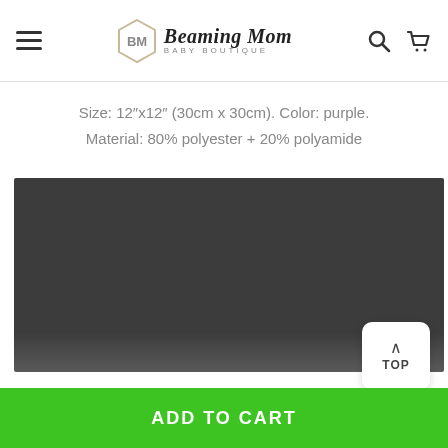Beaming Mom Baby Boutique
Size: 12″x12″ (30cm x 30cm). Color: purple. Material: 80% polyester + 20% polyamide
[Figure (photo): Dark/black product image area (possibly a purple cloth product shown in low light or placeholder image)]
TOP